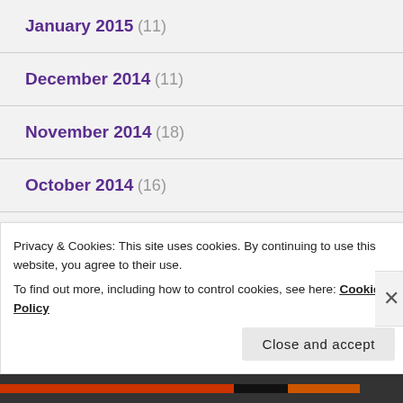January 2015 (11)
December 2014 (11)
November 2014 (18)
October 2014 (16)
September 2014 (9)
August 2014 (10)
Privacy & Cookies: This site uses cookies. By continuing to use this website, you agree to their use.
To find out more, including how to control cookies, see here: Cookie Policy
Close and accept